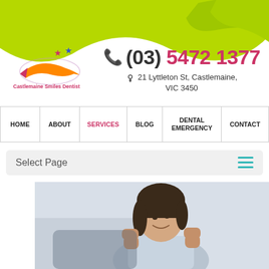[Figure (illustration): Green decorative arch/arrow shape at top of page]
[Figure (logo): Castlemaine Smiles Dentist logo with stars and smile arrow graphic]
(03) 5472 1377
21 Lyttleton St, Castlemaine, VIC 3450
HOME
ABOUT
SERVICES
BLOG
DENTAL EMERGENCY
CONTACT
Select Page
[Figure (photo): Woman smiling with fists raised in celebration, sitting in dental chair]